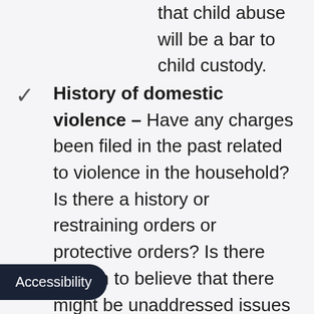that child abuse will be a bar to child custody.
History of domestic violence – Have any charges been filed in the past related to violence in the household? Is there a history or restraining orders or protective orders? Is there reason to believe that there might be unaddressed issues with domestic violence in the household? Domestic violence also very likely be a bar to child custody, particularly if it is directed toward the child